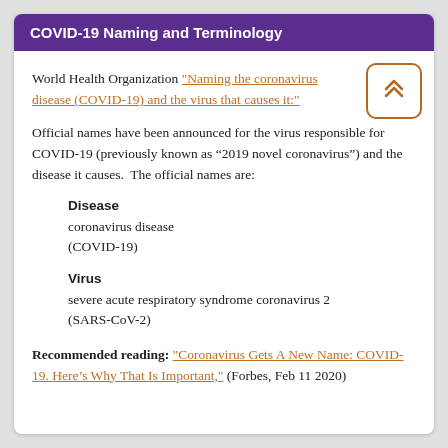COVID-19 Naming and Terminology
World Health Organization "Naming the coronavirus disease (COVID-19) and the virus that causes it:"
Official names have been announced for the virus responsible for COVID-19 (previously known as “2019 novel coronavirus”) and the disease it causes.  The official names are:
Disease
coronavirus disease (COVID-19)
Virus
severe acute respiratory syndrome coronavirus 2 (SARS-CoV-2)
Recommended reading: "Coronavirus Gets A New Name: COVID-19. Here’s Why That Is Important," (Forbes, Feb 11 2020)